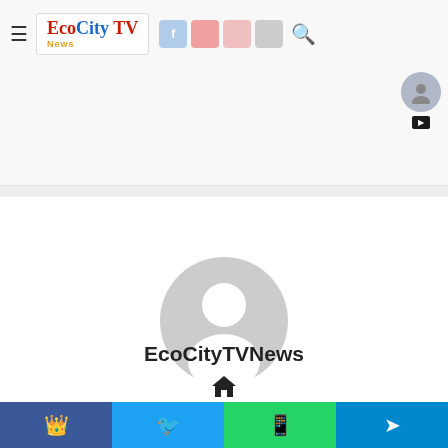EcoCityTVNews - website header with logo, social icons, search icon, and user avatar
[Figure (illustration): Generic user avatar placeholder: large grey circle with white person silhouette icon, centered on white background]
EcoCityTVNews
[Figure (illustration): Home/house icon]
Related Articles
Social share bar: Facebook, Twitter, WhatsApp, Telegram